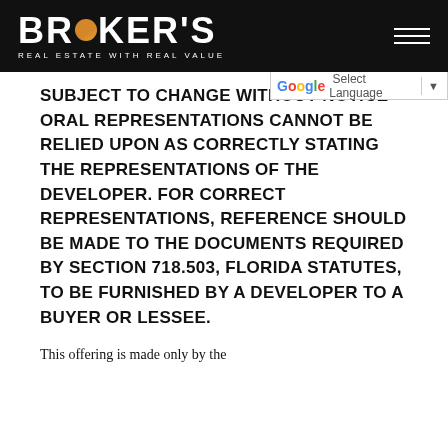[Figure (logo): Broker's Real Estate With Real Value logo — white text on black background with orange circle replacing the O in BROKER'S]
SUBJECT TO CHANGE WITHOUT NOTICE ORAL REPRESENTATIONS CANNOT BE RELIED UPON AS CORRECTLY STATING THE REPRESENTATIONS OF THE DEVELOPER. FOR CORRECT REPRESENTATIONS, REFERENCE SHOULD BE MADE TO THE DOCUMENTS REQUIRED BY SECTION 718.503, FLORIDA STATUTES, TO BE FURNISHED BY A DEVELOPER TO A BUYER OR LESSEE.
This offering is made only by the